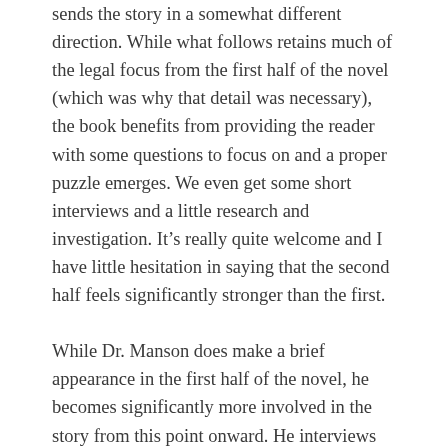sends the story in a somewhat different direction. While what follows retains much of the legal focus from the first half of the novel (which was why that detail was necessary), the book benefits from providing the reader with some questions to focus on and a proper puzzle emerges. We even get some short interviews and a little research and investigation. It’s really quite welcome and I have little hesitation in saying that the second half feels significantly stronger than the first.
While Dr. Manson does make a brief appearance in the first half of the novel, he becomes significantly more involved in the story from this point onward. He interviews witnesses and suspects, performs some scientific experiments and even does a little undercover work for which he employs a frankly terrible pseudonym of the sort you might expect from the Anthony Ainley